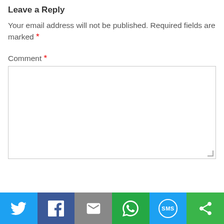Leave a Reply
Your email address will not be published. Required fields are marked *
Comment *
[Figure (screenshot): Empty comment textarea input box with light border]
[Figure (infographic): Social sharing bar with six buttons: Twitter (blue), Facebook (dark blue), Email (gray), WhatsApp (green), SMS (light blue), Other (green)]